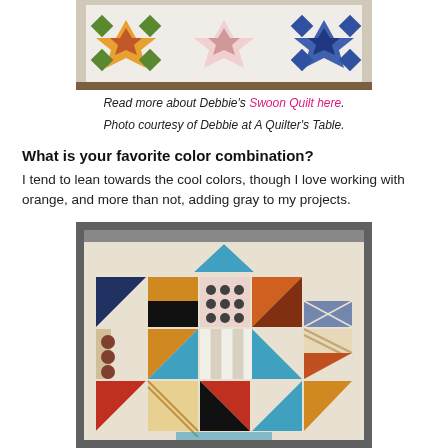[Figure (photo): Top portion of a colorful quilt with star patterns in orange, pink, and blue on white background, hung outdoors]
Read more about Debbie's Swoon Quilt here.
Photo courtesy of Debbie at A Quilter's Table.
What is your favorite color combination?
I tend to lean towards the cool colors, though I love working with orange, and more than not, adding gray to my projects.
[Figure (photo): A colorful quilt with geometric triangle and square patterns in orange, teal, blue, yellow, brown, and white, hung on a wall]